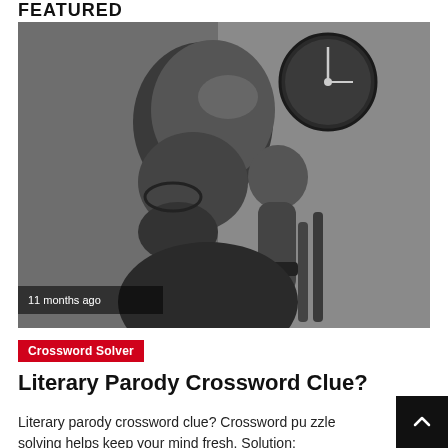FEATURED
[Figure (photo): Black and white photo of a bald, bearded man with reading glasses, leaning forward with his hand raised to his head in a thinking pose. A wall clock is visible in the background.]
11 months ago
Crossword Solver
Literary Parody Crossword Clue?
Literary parody crossword clue? Crossword puzzle solving helps keep your mind fresh. Solution: